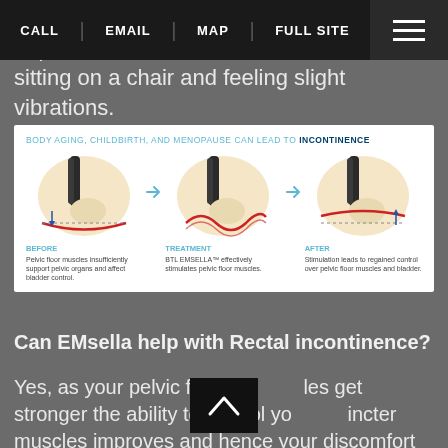Kege... to pe... sitting on a chair and feeling slight vibrations.
CALL | EMAIL | MAP | FULL SITE ☰
[Figure (illustration): Medical infographic showing three stages: BEFORE (pelvic floor muscles insufficiently support pelvic organs and affect bladder control), TREATMENT (BTL EMSELLA effectively stimulates pelvic floor muscles), AFTER (Stimulation leads to regained control over pelvic floor muscles and bladder). Title: BODY AGING, CHILDBIRTH, AND MENOPAUSE CAN LEAD TO INCONTINENCE]
Can EMsella help with Rectal incontinence?
Yes, as your pelvic floor muscles get stronger the ability to control your sphincter muscles improves and hence your discomfort